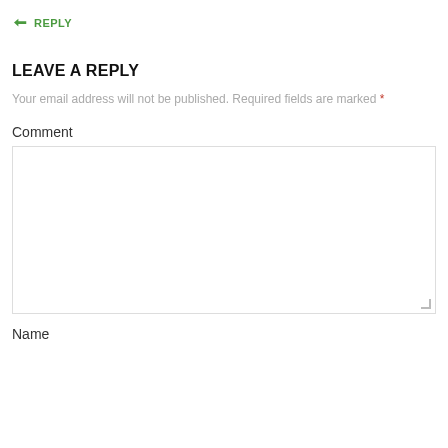↳ REPLY
LEAVE A REPLY
Your email address will not be published. Required fields are marked *
Comment
Name